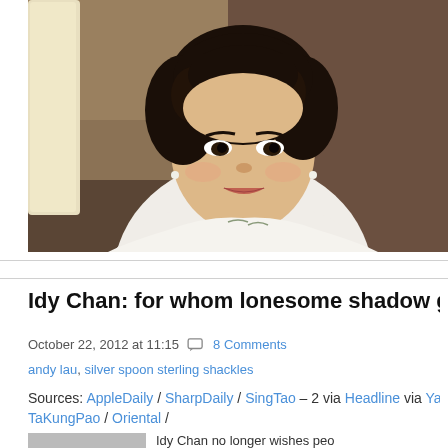[Figure (photo): Portrait photo of Idy Chan, a Chinese actress with curly dark hair, wearing a white floral qipao/dress, smiling, with a paper lamp visible on the left side. Dark brown background.]
Idy Chan: for whom lonesome shadow go
October 22, 2012 at 11:15   8 Comments
andy lau, silver spoon sterling shackles
Sources: AppleDaily / SharpDaily / SingTao – 2 via Headline via Yahoo! / HK TaKungPao / Oriental /
Idy Chan no longer wishes peo...